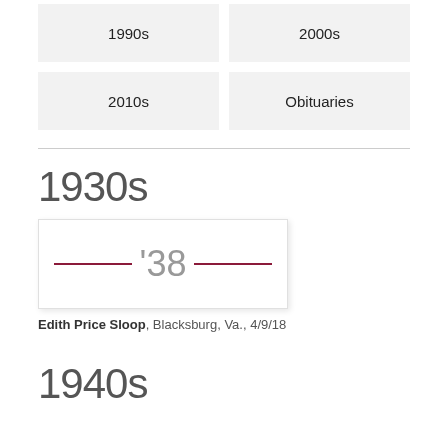1990s
2000s
2010s
Obituaries
1930s
[Figure (other): Year card showing '38 with decorative maroon lines on left and right]
Edith Price Sloop, Blacksburg, Va., 4/9/18
1940s